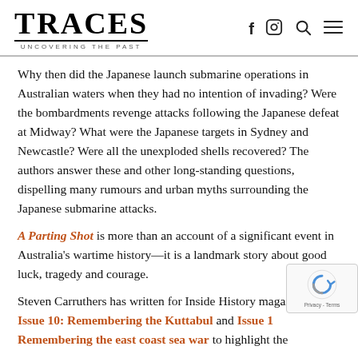TRACES — Uncovering the Past
Why then did the Japanese launch submarine operations in Australian waters when they had no intention of invading? Were the bombardments revenge attacks following the Japanese defeat at Midway? What were the Japanese targets in Sydney and Newcastle? Were all the unexploded shells recovered? The authors answer these and other long-standing questions, dispelling many rumours and urban myths surrounding the Japanese submarine attacks.
A Parting Shot is more than an account of a significant event in Australia's wartime history—it is a landmark story about good luck, tragedy and courage.
Steven Carruthers has written for Inside History magazine our Issue 10: Remembering the Kuttabul and Issue 1: Remembering the east coast sea war to highlight the…